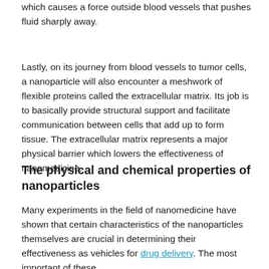which causes a force outside blood vessels that pushes fluid sharply away.
Lastly, on its journey from blood vessels to tumor cells, a nanoparticle will also encounter a meshwork of flexible proteins called the extracellular matrix. Its job is to basically provide structural support and facilitate communication between cells that add up to form tissue. The extracellular matrix represents a major physical barrier which lowers the effectiveness of nanomedicine.
The physical and chemical properties of nanoparticles
Many experiments in the field of nanomedicine have shown that certain characteristics of the nanoparticles themselves are crucial in determining their effectiveness as vehicles for drug delivery. The most important of these